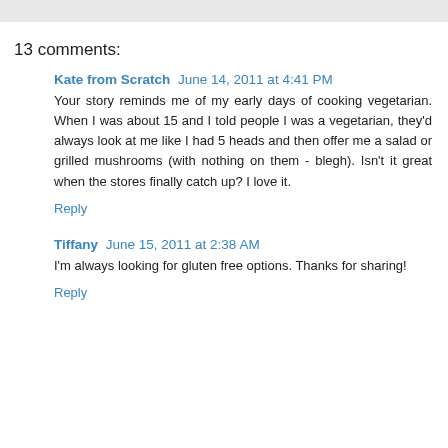13 comments:
Kate from Scratch  June 14, 2011 at 4:41 PM
Your story reminds me of my early days of cooking vegetarian. When I was about 15 and I told people I was a vegetarian, they'd always look at me like I had 5 heads and then offer me a salad or grilled mushrooms (with nothing on them - blegh). Isn't it great when the stores finally catch up? I love it.
Reply
Tiffany  June 15, 2011 at 2:38 AM
I'm always looking for gluten free options. Thanks for sharing!
Reply